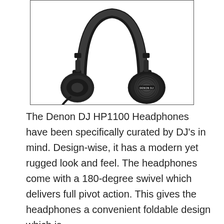[Figure (photo): Denon DJ HP1100 professional DJ headphones in black, shown at a slight angle with the ear cups visible and the Denon DJ logo on the right ear cup. The headphones have a padded headband and over-ear cushions.]
The Denon DJ HP1100 Headphones have been specifically curated by DJ's in mind. Design-wise, it has a modern yet rugged look and feel. The headphones come with a 180-degree swivel which delivers full pivot action. This gives the headphones a convenient foldable design which is